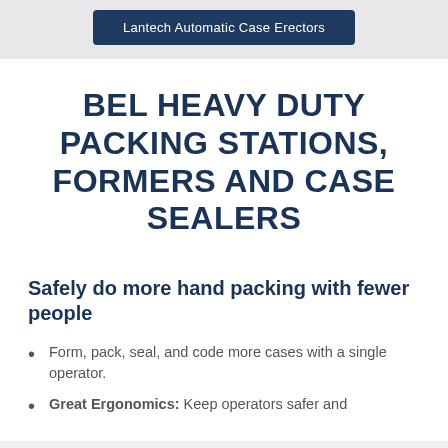Lantech Automatic Case Erectors
BEL HEAVY DUTY PACKING STATIONS, FORMERS AND CASE SEALERS
Safely do more hand packing with fewer people
Form, pack, seal, and code more cases with a single operator.
Great Ergonomics: Keep operators safer and